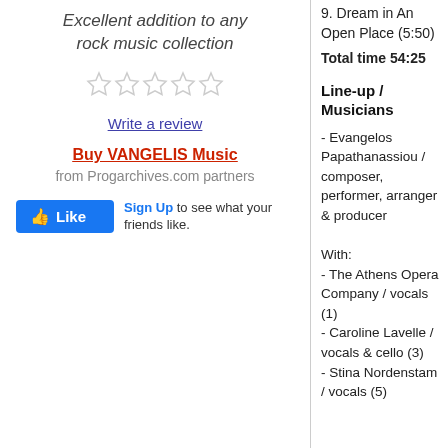Excellent addition to any rock music collection
[Figure (other): Five empty star rating icons (unrated)]
Write a review
Buy VANGELIS Music
from Progarchives.com partners
[Figure (other): Facebook Like button widget with Sign Up link and text 'to see what your friends like.']
9. Dream in An Open Place (5:50)
Total time 54:25
Line-up / Musicians
- Evangelos Papathanassiou / composer, performer, arranger & producer

With:
- The Athens Opera Company / vocals (1)
- Caroline Lavelle / vocals & cello (3)
- Stina Nordenstam / vocals (5)